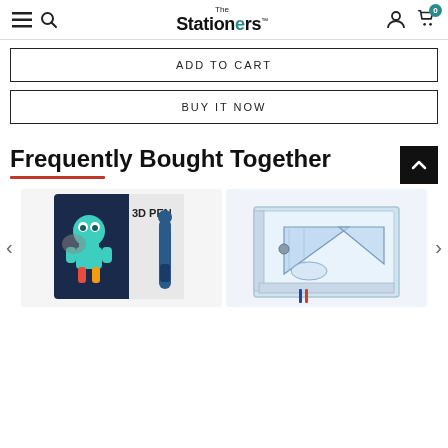The Stationers — navigation header with menu, search, account, and cart (0 items)
ADD TO CART
BUY IT NOW
Frequently Bought Together
[Figure (photo): 3D Pen product box with a cartoon robot character and a blue pen]
[Figure (photo): Drawing board/drafting set with rulers, protractor and set square tools]